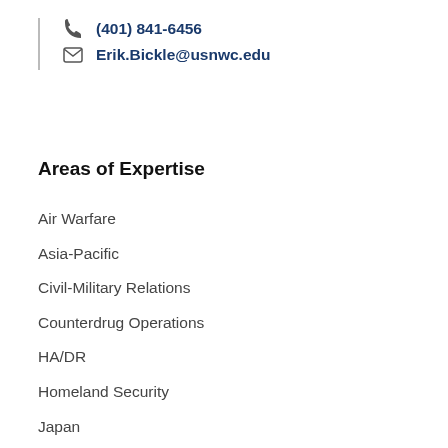(401) 841-6456
Erik.Bickle@usnwc.edu
Areas of Expertise
Air Warfare
Asia-Pacific
Civil-Military Relations
Counterdrug Operations
HA/DR
Homeland Security
Japan
Koreas
Piracy